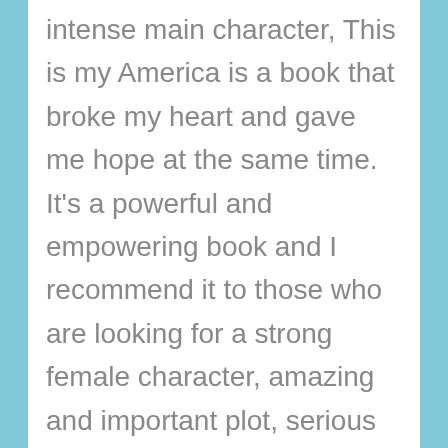intense main character, This is my America is a book that broke my heart and gave me hope at the same time. It's a powerful and empowering book and I recommend it to those who are looking for a strong female character, amazing and important plot, serious topics and hopeful and realistic ending.